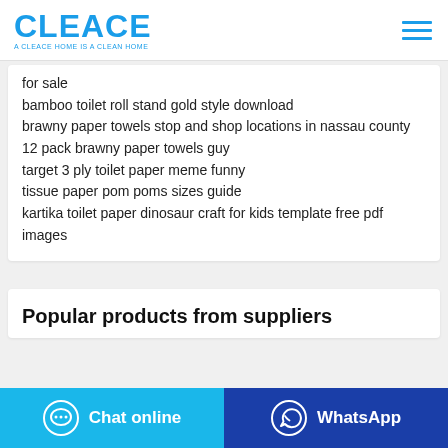CLEACE — A CLEACE HOME IS A CLEAN HOME
for sale
bamboo toilet roll stand gold style download
brawny paper towels stop and shop locations in nassau county
12 pack brawny paper towels guy
target 3 ply toilet paper meme funny
tissue paper pom poms sizes guide
kartika toilet paper dinosaur craft for kids template free pdf images
Popular products from suppliers
Chat online | WhatsApp